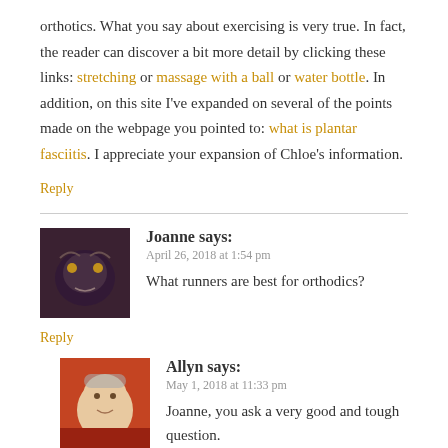orthotics. What you say about exercising is very true. In fact, the reader can discover a bit more detail by clicking these links: stretching or massage with a ball or water bottle. In addition, on this site I've expanded on several of the points made on the webpage you pointed to: what is plantar fasciitis. I appreciate your expansion of Chloe's information.
Reply
Joanne says:
April 26, 2018 at 1:54 pm
What runners are best for orthodics?
Reply
Allyn says:
May 1, 2018 at 11:33 pm
Joanne, you ask a very good and tough question.